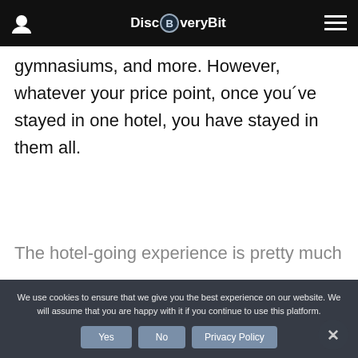DiscBveryBit
gymnasiums, and more. However, whatever your price point, once you´ve stayed in one hotel, you have stayed in them all.
The hotel-going experience is pretty much the
We use cookies to ensure that we give you the best experience on our website. We will assume that you are happy with it if you continue to use this platform.